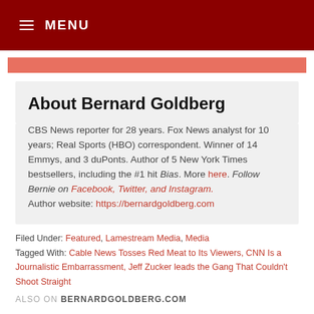≡ MENU
About Bernard Goldberg
CBS News reporter for 28 years. Fox News analyst for 10 years; Real Sports (HBO) correspondent. Winner of 14 Emmys, and 3 duPonts. Author of 5 New York Times bestsellers, including the #1 hit Bias. More here. Follow Bernie on Facebook, Twitter, and Instagram. Author website: https://bernardgoldberg.com
Filed Under: Featured, Lamestream Media, Media
Tagged With: Cable News Tosses Red Meat to Its Viewers, CNN Is a Journalistic Embarrassment, Jeff Zucker leads the Gang That Couldn't Shoot Straight
ALSO ON BERNARDGOLDBERG.COM